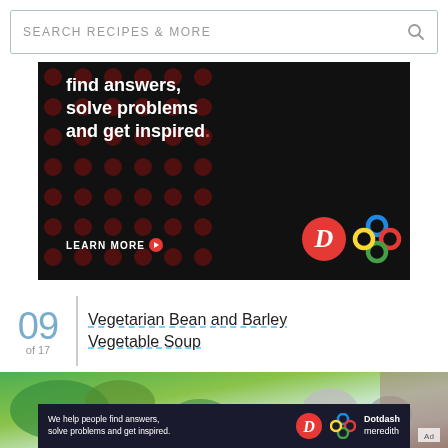[Figure (screenshot): Search bar with text SEARCH RECIPES & MORE and a search icon on the right]
[Figure (screenshot): Advertisement banner with black background, dark red dot pattern, white bold text: find answers, solve problems and get inspired. with red period, LEARN MORE button, Dotdash D logo in red circle, and colorful knot logo]
09 of 17
Vegetarian Bean and Barley Vegetable Soup
[Figure (photo): Photo of vegetarian bean and barley vegetable soup with green herb garnish and gray bowls]
[Figure (screenshot): Bottom advertisement banner: We help people find answers, solve problems and get inspired. Dotdash meredith logo]